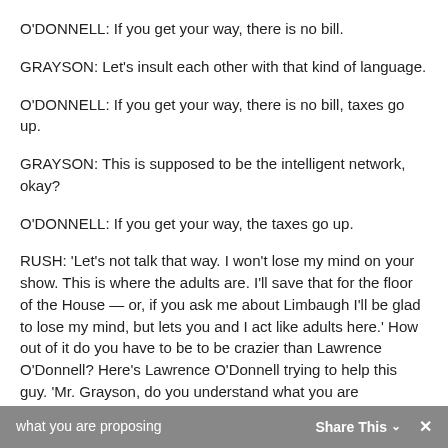O'DONNELL: If you get your way, there is no bill.
GRAYSON: Let's insult each other with that kind of language.
O'DONNELL: If you get your way, there is no bill, taxes go up.
GRAYSON: This is supposed to be the intelligent network, okay?
O'DONNELL: If you get your way, the taxes go up.
RUSH: 'Let's not talk that way. I won't lose my mind on your show. This is where the adults are. I'll save that for the floor of the House — or, if you ask me about Limbaugh I'll be glad to lose my mind, but lets you and I act like adults here.' How out of it do you have to be to be crazier than Lawrence O'Donnell? Here's Lawrence O'Donnell trying to help this guy. 'Mr. Grayson, do you understand what you are proposing
Share This ∨  ×